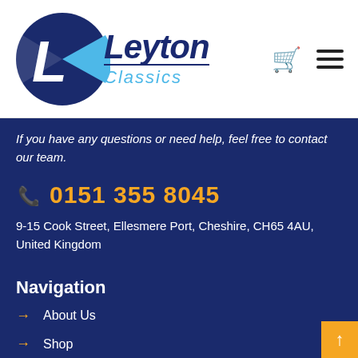[Figure (logo): Leyton Classics logo with blue circle L icon and italic text]
If you have any questions or need help, feel free to contact our team.
0151 355 8045
9-15 Cook Street, Ellesmere Port, Cheshire, CH65 4AU, United Kingdom
Navigation
About Us
Shop
Projects
Technical Section